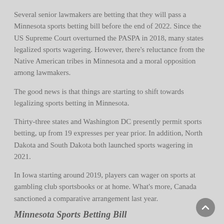Several senior lawmakers are betting that they will pass a Minnesota sports betting bill before the end of 2022. Since the US Supreme Court overturned the PASPA in 2018, many states legalized sports wagering. However, there's reluctance from the Native American tribes in Minnesota and a moral opposition among lawmakers.
The good news is that things are starting to shift towards legalizing sports betting in Minnesota.
Thirty-three states and Washington DC presently permit sports betting, up from 19 expresses per year prior. In addition, North Dakota and South Dakota both launched sports wagering in 2021.
In Iowa starting around 2019, players can wager on sports at gambling club sportsbooks or at home. What's more, Canada sanctioned a comparative arrangement last year.
Minnesota Sports Betting Bill